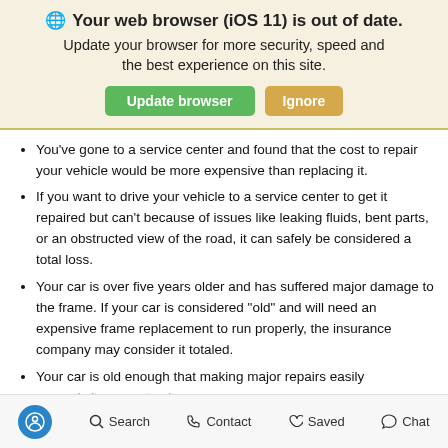[Figure (screenshot): Browser out-of-date warning banner with globe icon, bold title 'Your web browser (iOS 11) is out of date.', subtitle text, and two buttons: 'Update browser' (green) and 'Ignore' (tan/orange).]
You've gone to a service center and found that the cost to repair your vehicle would be more expensive than replacing it.
If you want to drive your vehicle to a service center to get it repaired but can't because of issues like leaking fluids, bent parts, or an obstructed view of the road, it can safely be considered a total loss.
Your car is over five years older and has suffered major damage to the frame. If your car is considered "old" and will need an expensive frame replacement to run properly, the insurance company may consider it totaled.
Your car is old enough that making major repairs easily exceeds its current value.
Search  Contact  Saved  Chat